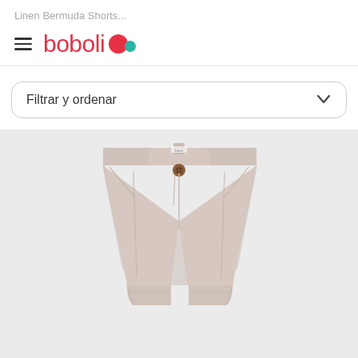Linen Bermuda Shorts...
[Figure (logo): Boboli brand logo with hamburger menu icon, red text 'boboli' with red and teal dot icons]
Filtrar y ordenar
[Figure (photo): Light pink/beige linen bermuda shorts with pleats, brown button, and cuffed hem on gray background]